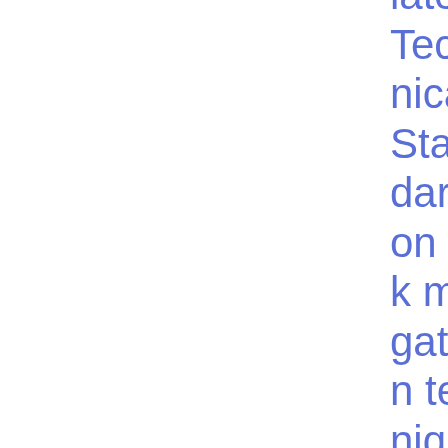latory Technical Standards on risk mitigation techniques for OTC derivatives not cleared by a